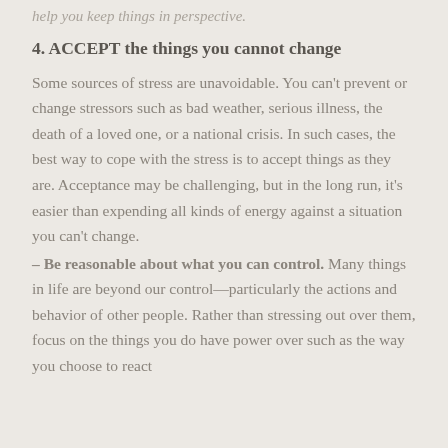help you keep things in perspective.
4. ACCEPT the things you cannot change
Some sources of stress are unavoidable. You can't prevent or change stressors such as bad weather, serious illness, the death of a loved one, or a national crisis. In such cases, the best way to cope with the stress is to accept things as they are. Acceptance may be challenging, but in the long run, it's easier than expending all kinds of energy against a situation you can't change.
– Be reasonable about what you can control. Many things in life are beyond our control—particularly the actions and behavior of other people. Rather than stressing out over them, focus on the things you do have power over such as the way you choose to react